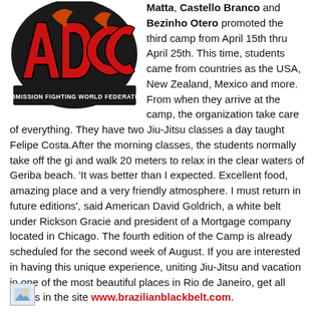Matta, Castello Branco and Bezinho Otero promoted the third camp from April 15th thru April 25th. This time, students came from countries as the USA, New Zealand, Mexico and more. From when they arrive at the camp, the organization take care of everything. They have two Jiu-Jitsu classes a day taught Felipe Costa.After the morning classes, the students normally take off the gi and walk 20 meters to relax in the clear waters of Geriba beach. 'It was better than I expected. Excellent food, amazing place and a very friendly atmosphere. I must return in future editions', said American David Goldrich, a white belt under Rickson Gracie and president of a Mortgage company located in Chicago. The fourth edition of the Camp is already scheduled for the second week of August. If you are interested in having this unique experience, uniting Jiu-Jitsu and vacation in one of the most beautiful places in Rio de Janeiro, get all details in the site www.brazilianblackbelt.com.
[Figure (logo): ADCC Submission Fighting World Federation logo - red and black graffiti-style lettering]